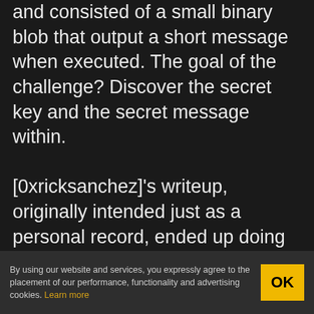and consisted of a small binary blob that output a short message when executed. The goal of the challenge? Discover the secret key and the secret message within. [0xricksanchez]'s writeup, originally intended just as a personal record, ended up doing an excellent job of showing how a lot of reverse engineering tools and processes get applied to software in a practical way.

What's also great about [0xricksanchez]'s writeup is that it uses standard tools and plenty of screenshots to show what is being
By using our website and services, you expressly agree to the placement of our performance, functionality and advertising cookies. Learn more